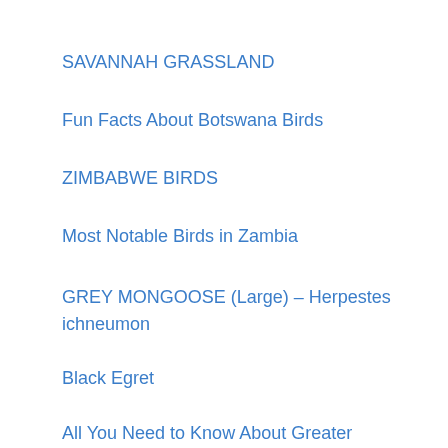SAVANNAH GRASSLAND
Fun Facts About Botswana Birds
ZIMBABWE BIRDS
Most Notable Birds in Zambia
GREY MONGOOSE (Large) – Herpestes ichneumon
Black Egret
All You Need to Know About Greater Flamingo